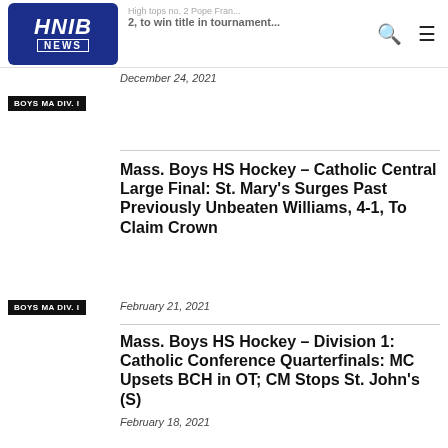HNIB NEWS
December 24, 2021
BOYS MA DIV. I
Mass. Boys HS Hockey – Catholic Central Large Final: St. Mary's Surges Past Previously Unbeaten Williams, 4-1, To Claim Crown
BOYS MA DIV. I
February 21, 2021
Mass. Boys HS Hockey – Division 1: Catholic Conference Quarterfinals: MC Upsets BCH in OT; CM Stops St. John's (S)
February 18, 2021
BOYS MA DIV. I